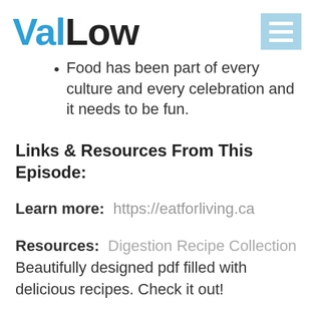ValLow
Food has been part of every culture and every celebration and it needs to be fun.
Links & Resources From This Episode:
Learn more:  https://eatforliving.ca
Resources:  Digestion Recipe Collection  Beautifully designed pdf filled with delicious recipes. Check it out!